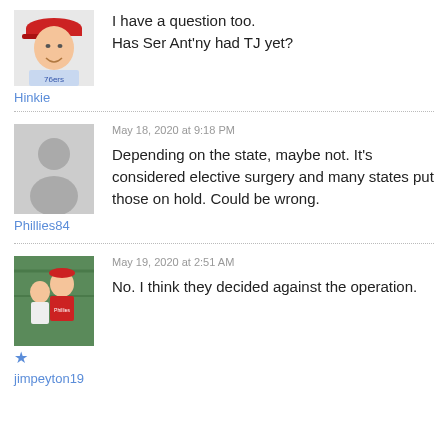[Figure (photo): Avatar photo of user Hinkie, man in red cap]
I have a question too.
Has Ser Ant'ny had TJ yet?
Hinkie
May 18, 2020 at 9:18 PM
[Figure (illustration): Default gray silhouette avatar for user Phillies84]
Depending on the state, maybe not. It’s considered elective surgery and many states put those on hold. Could be wrong.
Phillies84
May 19, 2020 at 2:51 AM
[Figure (photo): Avatar photo of user jimpeyton19, two people]
No. I think they decided against the operation.
jimpeyton19